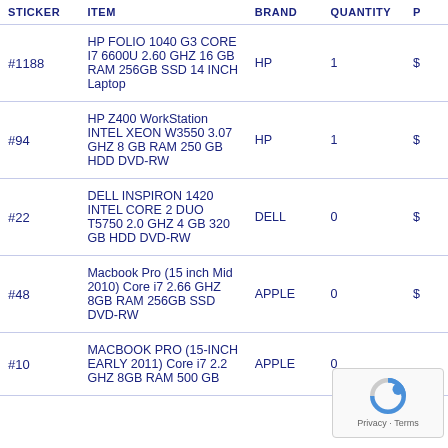| STICKER | ITEM | BRAND | QUANTITY | P |
| --- | --- | --- | --- | --- |
| #1188 | HP FOLIO 1040 G3 CORE I7 6600U 2.60 GHZ 16 GB RAM 256GB SSD 14 INCH Laptop | HP | 1 | $ |
| #94 | HP Z400 WorkStation INTEL XEON W3550 3.07 GHZ 8 GB RAM 250 GB HDD DVD-RW | HP | 1 | $ |
| #22 | DELL INSPIRON 1420 INTEL CORE 2 DUO T5750 2.0 GHZ 4 GB 320 GB HDD DVD-RW | DELL | 0 | $ |
| #48 | Macbook Pro (15 inch Mid 2010) Core i7 2.66 GHZ 8GB RAM 256GB SSD DVD-RW | APPLE | 0 | $ |
| #10 | MACBOOK PRO (15-INCH EARLY 2011) Core i7 2.2 GHZ 8GB RAM 500 GB | APPLE | 0 |  |